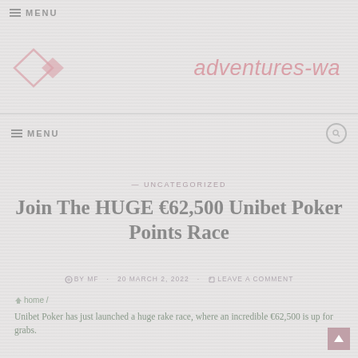≡ MENU
[Figure (logo): Adventures-wa website logo with diamond shapes and italic text 'adventures-wa']
≡ MENU
UNCATEGORIZED
Join The HUGE €62,500 Unibet Poker Points Race
BY MF · 20 MARCH 2, 2022 · LEAVE A COMMENT
home /
Unibet Poker has just launched a huge rake race, where an incredible €62,500 is up for grabs.